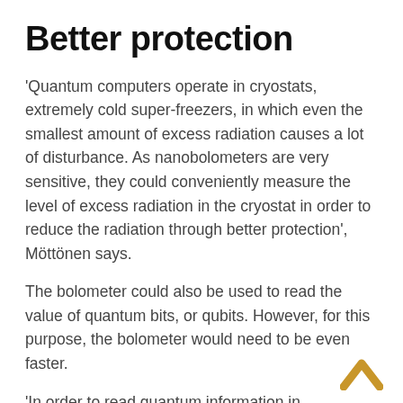Better protection
'Quantum computers operate in cryostats, extremely cold super-freezers, in which even the smallest amount of excess radiation causes a lot of disturbance. As nanobolometers are very sensitive, they could conveniently measure the level of excess radiation in the cryostat in order to reduce the radiation through better protection', Möttönen says.
The bolometer could also be used to read the value of quantum bits, or qubits. However, for this purpose, the bolometer would need to be even faster.
'In order to read quantum information in superconducting quantum computers several times